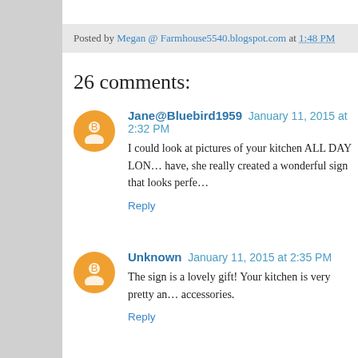Posted by Megan @ Farmhouse5540.blogspot.com at 1:48 PM
26 comments:
Jane@Bluebird1959 January 11, 2015 at 2:32 PM
I could look at pictures of your kitchen ALL DAY LON... have, she really created a wonderful sign that looks perfe...
Reply
Unknown January 11, 2015 at 2:35 PM
The sign is a lovely gift! Your kitchen is very pretty an... accessories.
Reply